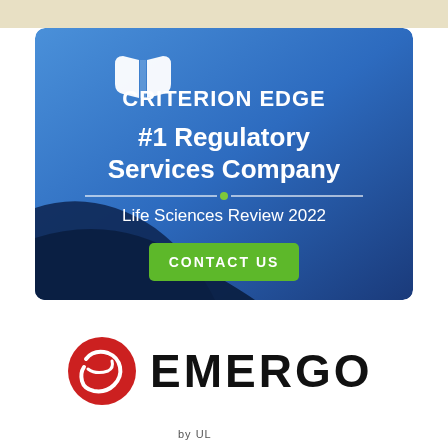[Figure (illustration): Criterion Edge advertisement banner with blue gradient background, book icon, '#1 Regulatory Services Company' headline, 'Life Sciences Review 2022' subheading, and a green 'CONTACT US' button]
[Figure (logo): Emergo logo: red circular globe icon with white swoosh mark on the left, followed by 'EMERGO' in large bold black uppercase letters]